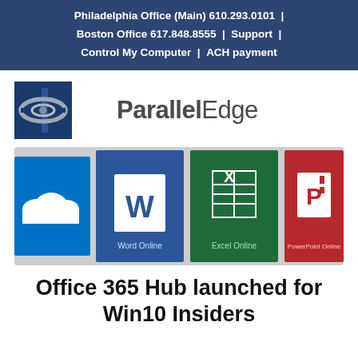Philadelphia Office (Main) 610.293.0101  |  Boston Office 617.848.8555  |  Support  |  Control My Computer  |  ACH payment
[Figure (logo): ParallelEdge company logo: blue square with silver ellipse icon on left, bold 'Parallel' and light 'Edge' text on right]
[Figure (screenshot): Microsoft Office 365 Online apps screenshot showing OneDrive cloud icon, Word Online, Excel Online, and PowerPoint Online tiles]
Office 365 Hub launched for Win10 Insiders